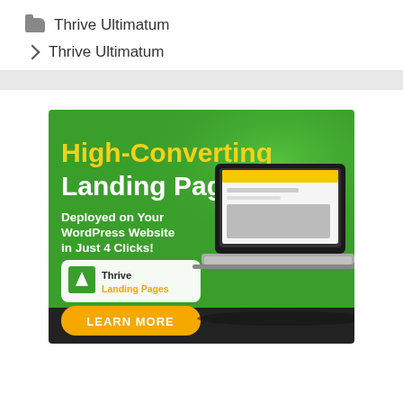Thrive Ultimatum
Thrive Ultimatum
[Figure (screenshot): Advertisement banner for Thrive Landing Pages showing text 'High-Converting Landing Pages - Deployed on Your WordPress Website in Just 4 Clicks!' with a laptop image and a 'LEARN MORE' button on a green background.]